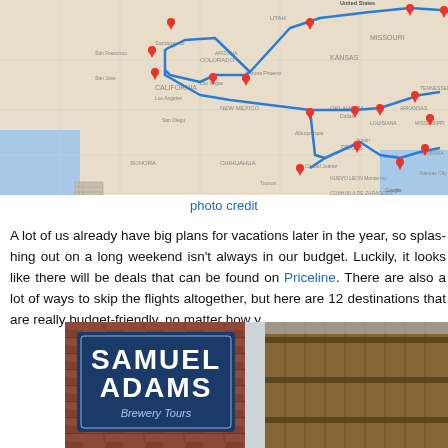[Figure (map): Google Maps screenshot showing a road trip route across the United States with red pin markers and a blue route line connecting multiple cities from California through the Southwest, South, and Southeast regions.]
photo credit
A lot of us already have big plans for vacations later in the year, so splashing out on a long weekend isn't always in our budget. Luckily, it looks like there will be deals that can be found on Priceline. There are also a lot of ways to skip the flights altogether, but here are 12 destinations that are really budget-friendly, no matter how you travel.
[Figure (photo): Photo of a Samuel Adams Brewery Tour sign on a brick wall next to a wooden barrel.]